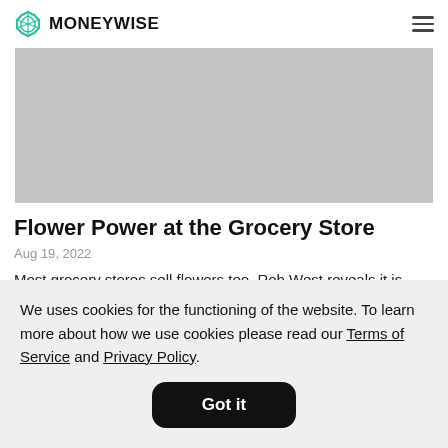MONEYWISE
[Figure (photo): Gray placeholder hero image for article]
Flower Power at the Grocery Store
Aug 19, 2022
Most grocery stores sell flowers too. Rob West reveals it is because the fragrances put people
We uses cookies for the functioning of the website. To learn more about how we use cookies please read our Terms of Service and Privacy Policy. Got it